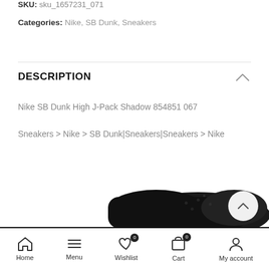SKU: sku_1657231_071
Categories: Nike, SB Dunk, Sneakers
DESCRIPTION
Nike SB Dunk High J-Pack Shadow 854851 067
Sneakers > Nike > SB Dunk|Sneakers|Sneakers > Nike
[Figure (photo): Partial image of a black Nike SB Dunk High sneaker visible at the bottom of the page]
Home  Menu  Wishlist  Cart  My account